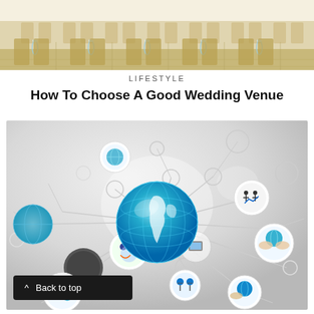[Figure (photo): Top portion of a wedding venue interior with rows of chairs and tables with water glasses, warm beige tones]
LIFESTYLE
How To Choose A Good Wedding Venue
[Figure (illustration): Network/connectivity illustration showing a blue globe in the center connected to various circular icons representing global business, technology, and communication concepts, on a light gray gradient background]
Back to top